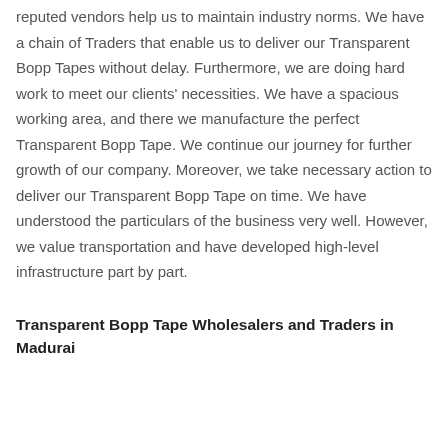reputed vendors help us to maintain industry norms. We have a chain of Traders that enable us to deliver our Transparent Bopp Tapes without delay. Furthermore, we are doing hard work to meet our clients' necessities. We have a spacious working area, and there we manufacture the perfect Transparent Bopp Tape. We continue our journey for further growth of our company. Moreover, we take necessary action to deliver our Transparent Bopp Tape on time. We have understood the particulars of the business very well. However, we value transportation and have developed high-level infrastructure part by part.
Transparent Bopp Tape Wholesalers and Traders in Madurai